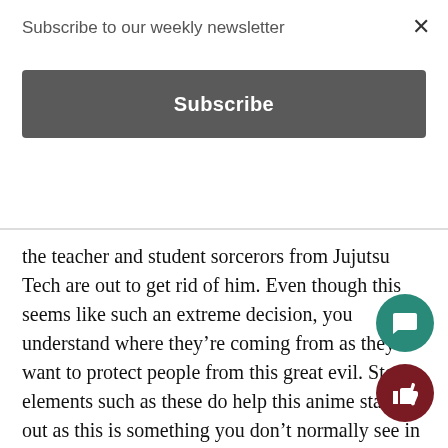Subscribe to our weekly newsletter
Subscribe
the teacher and student sorcerors from Jujutsu Tech are out to get rid of him. Even though this seems like such an extreme decision, you understand where they're coming from as they want to protect people from this great evil. Story elements such as these do help this anime stand out as this is something you don't normally see in a lot of shows.
The animation in this show is also beautiful to look at. The intro alone is full of so much energy and deta… remember pausing a few moments so that I could… how many movements they pack into one frame. What makes it even more amazing is that it doesn…